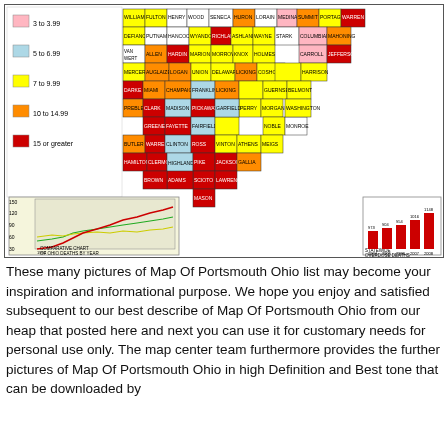[Figure (map): Choropleth map of Ohio counties showing drug overdose death rates per 100,000 population, with a legend: pink=3 to 3.99, light blue=5 to 6.99, yellow=7 to 9.99, orange=10 to 14.99, red=15 or greater. Includes a small inset line chart of Ohio deaths by year from 1999 to 2008, and a bar chart showing statewide overdose deaths from 2004 to 2008.]
These many pictures of Map Of Portsmouth Ohio list may become your inspiration and informational purpose. We hope you enjoy and satisfied subsequent to our best describe of Map Of Portsmouth Ohio from our heap that posted here and next you can use it for customary needs for personal use only. The map center team furthermore provides the further pictures of Map Of Portsmouth Ohio in high Definition and Best tone that can be downloaded by